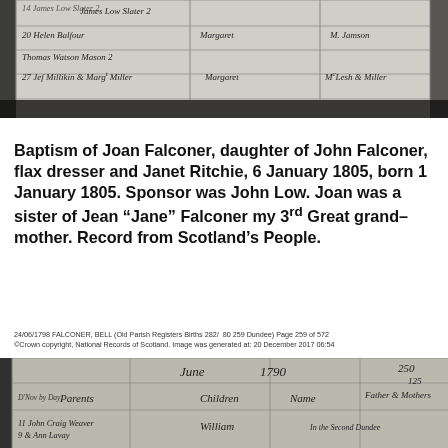[Figure (photo): Scanned historical parish register page showing handwritten entries in cursive script, including names such as James Low, Helen Balfour, Thomas Watson, and Margaret, in columns with faded ink on aged paper.]
Baptism of Joan Falconer, daughter of John Falconer, flax dresser and Janet Ritchie, 6 January 1805, born 1 January 1805. Sponsor was John Low. Joan was a sister of Jean “Jane” Falconer my 3rd Great grand-mother. Record from Scotland’s People.
24/06/1798 FALCONER, BELL (Old Parish Registers Births 282/ 80 259 Dundee) Page 259 of 572
©Crown copyright, National Records of Scotland. Image was generated at: 20 December 2017 06:54
[Figure (photo): Scanned historical parish register page showing handwritten entries in cursive script, with column headers for Parents, Children, Name, and Father/Mother, and an entry for John Craig weaver and Ann Lavay with child William, dated June 1790, page numbers 250 and 125 visible.]